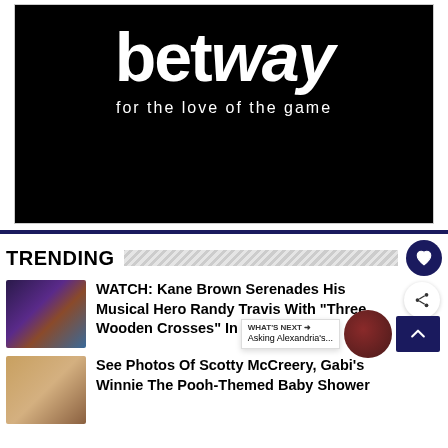[Figure (logo): Betway logo — white text 'betway' bold large, tagline 'for the love of the game' in white on black background]
TRENDING
WATCH: Kane Brown Serenades His Musical Hero Randy Travis With "Three Wooden Crosses" In Oklahoma
See Photos Of Scotty McCreery, Gabi's Winnie The Pooh-Themed Baby Shower